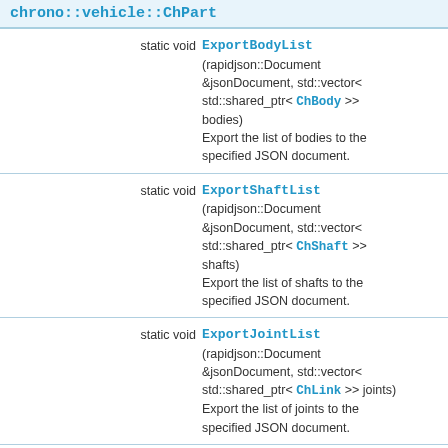chrono::vehicle::ChPart
| Signature | Name & Description |
| --- | --- |
| static void | ExportBodyList
(rapidjson::Document &jsonDocument, std::vector< std::shared_ptr< ChBody >> bodies)
Export the list of bodies to the specified JSON document. |
| static void | ExportShaftList
(rapidjson::Document &jsonDocument, std::vector< std::shared_ptr< ChShaft >> shafts)
Export the list of shafts to the specified JSON document. |
| static void | ExportJointList
(rapidjson::Document &jsonDocument, std::vector< std::shared_ptr< ChLink >> joints)
Export the list of joints to the specified JSON document. |
| static void | ExportCouplesList
(rapidjson::Document &jsonDocument, std::vector< std::shared_ptr< ChShaftsCouple >> couples) |